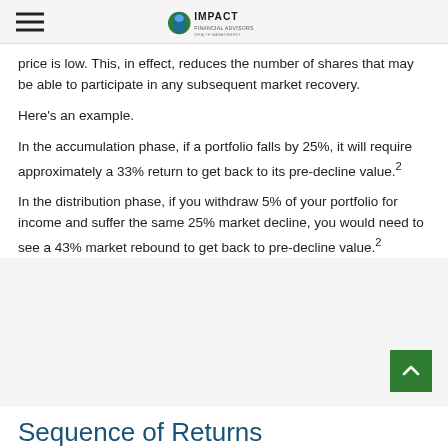Impact Financial Advisors
price is low. This, in effect, reduces the number of shares that may be able to participate in any subsequent market recovery.
Here's an example.
In the accumulation phase, if a portfolio falls by 25%, it will require approximately a 33% return to get back to its pre-decline value.²
In the distribution phase, if you withdraw 5% of your portfolio for income and suffer the same 25% market decline, you would need to see a 43% market rebound to get back to pre-decline value.²
Sequence of Returns